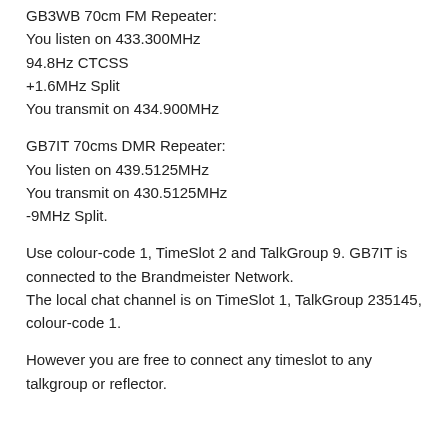GB3WB 70cm FM Repeater:
You listen on 433.300MHz
94.8Hz CTCSS
+1.6MHz Split
You transmit on 434.900MHz
GB7IT 70cms DMR Repeater:
You listen on 439.5125MHz
You transmit on 430.5125MHz
-9MHz Split.
Use colour-code 1, TimeSlot 2 and TalkGroup 9. GB7IT is connected to the Brandmeister Network.
The local chat channel is on TimeSlot 1, TalkGroup 235145, colour-code 1.
However you are free to connect any timeslot to any talkgroup or reflector.